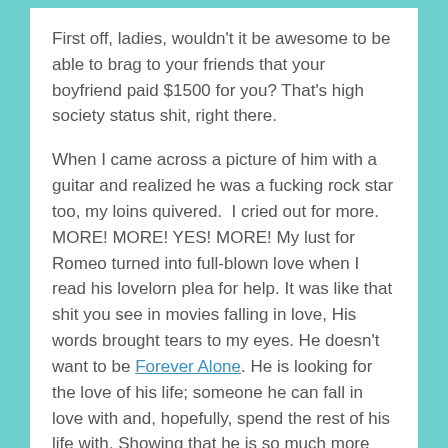First off, ladies, wouldn't it be awesome to be able to brag to your friends that your boyfriend paid $1500 for you? That's high society status shit, right there.
When I came across a picture of him with a guitar and realized he was a fucking rock star too, my loins quivered.  I cried out for more. MORE! MORE! YES! MORE! My lust for Romeo turned into full-blown love when I read his lovelorn plea for help. It was like that shit you see in movies falling in love, His words brought tears to my eyes. He doesn't want to be Forever Alone. He is looking for the love of his life; someone he can fall in love with and, hopefully, spend the rest of his life with. Showing that he is so much more than just hot bod and pretty face, his describes to any potential matchmakers the characteristics he searches for in a woman. With this poetry, he showed his ability to step out of that